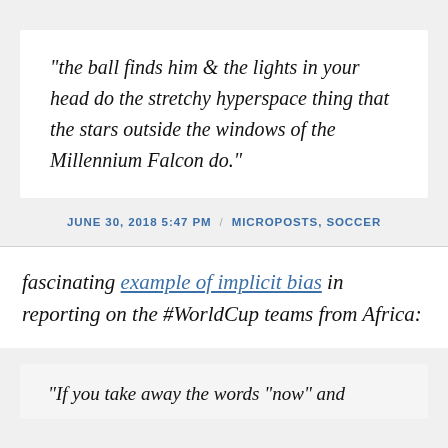“the ball finds him & the lights in your head do the stretchy hyperspace thing that the stars outside the windows of the Millennium Falcon do.”
JUNE 30, 2018 5:47 PM / MICROPOSTS, SOCCER
fascinating example of implicit bias in reporting on the #WorldCup teams from Africa:
“If you take away the words “now” and